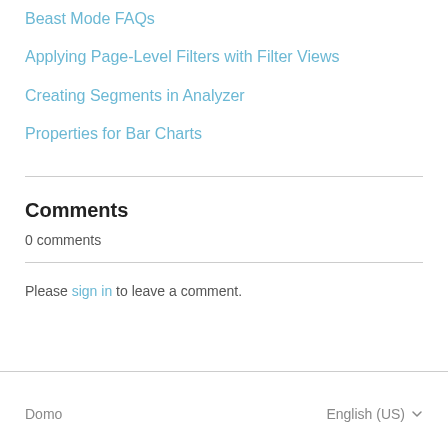Beast Mode FAQs
Applying Page-Level Filters with Filter Views
Creating Segments in Analyzer
Properties for Bar Charts
Comments
0 comments
Please sign in to leave a comment.
Domo    English (US)